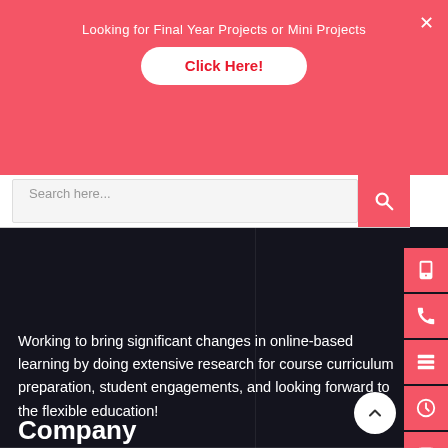Looking for Final Year Projects or Mini Projects
Click Here!
Search here...
Working to bring significant changes in online-based learning by doing extensive research for course curriculum preparation, student engagements, and looking forward to the flexible education!
Company